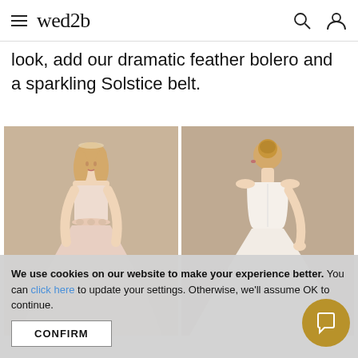wed2b
look, add our dramatic feather bolero and a sparkling Solstice belt.
[Figure (photo): Front view of a model wearing a strapless blush/pink ballgown wedding dress with floral waist detail, on a warm beige background.]
[Figure (photo): Back view of a model wearing a strapless white ballgown wedding dress with a long train, on a warm beige background.]
We use cookies on our website to make your experience better. You can click here to update your settings. Otherwise, we'll assume OK to continue.
CONFIRM